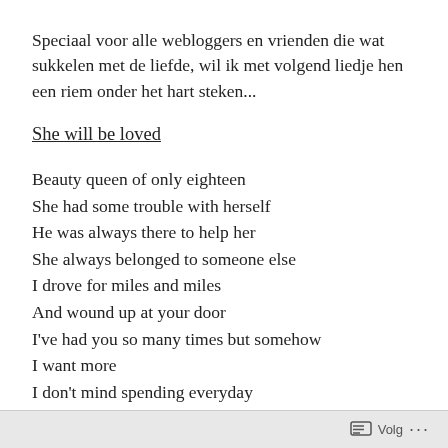Speciaal voor alle webloggers en vrienden die wat sukkelen met de liefde, wil ik met volgend liedje hen een riem onder het hart steken...
She will be loved
Beauty queen of only eighteen
She had some trouble with herself
He was always there to help her
She always belonged to someone else
I drove for miles and miles
And wound up at your door
I've had you so many times but somehow
I want more
I don't mind spending everyday
Volg ...